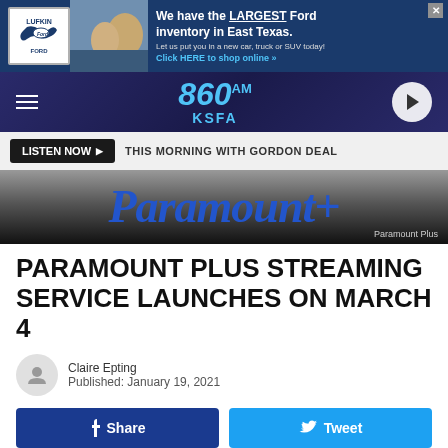[Figure (other): Lufkin Ford advertisement banner: logo with Texas state shape, photo of people in car, text 'We have the LARGEST Ford inventory in East Texas. Let us put you in a new car, truck or SUV today! Click HERE to shop online »']
[Figure (other): 860 AM KSFA radio station header with hamburger menu, call letters logo in blue italic, and circular play button]
LISTEN NOW ▶   THIS MORNING WITH GORDON DEAL
[Figure (photo): Paramount+ logo in blue italic script on dark gradient background with caption 'Paramount Plus']
PARAMOUNT PLUS STREAMING SERVICE LAUNCHES ON MARCH 4
Claire Epting
Published: January 19, 2021
Share   Tweet
ViacomCBS has announced its official launch date for